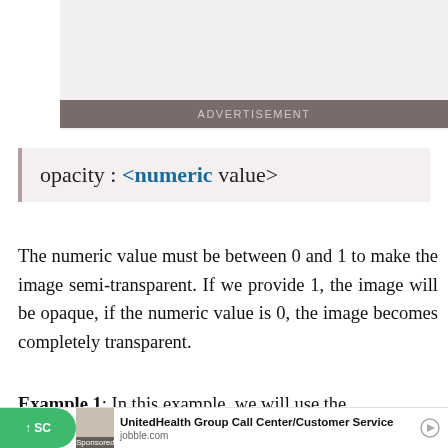[Figure (other): Advertisement banner area (gray rectangle with ADVERTISEMENT label bar)]
opacity : <numeric value>
The numeric value must be between 0 and 1 to make the image semi-transparent. If we provide 1, the image will be opaque, if the numeric value is 0, the image becomes completely transparent.
Example 1: In this example, we will use the ... make the element transparent
[Figure (other): Bottom advertisement banner showing UnitedHealth Group Call Center/Customer Service ad from jobble.com with Sponsored label and scroll button]